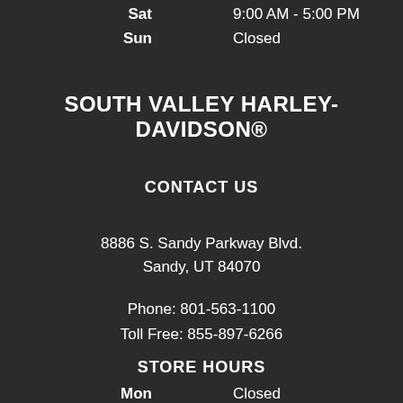Sat  9:00 AM - 5:00 PM
Sun  Closed
SOUTH VALLEY HARLEY-DAVIDSON®
CONTACT US
8886 S. Sandy Parkway Blvd.
Sandy, UT 84070
Phone: 801-563-1100
Toll Free: 855-897-6266
STORE HOURS
Mon  Closed
Tue  9:00 AM - 6:00 PM